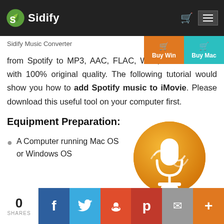Sidify
Sidify Music Converter
from Spotify to MP3, AAC, FLAC, WAV, AIFF or ALAC with 100% original quality. The following tutorial would show you how to add Spotify music to iMovie. Please download this useful tool on your computer first.
Equipment Preparation:
[Figure (illustration): Orange circle with white microphone/audio waveform icon]
A Computer running Mac OS or Windows OS
0 SHARES | Facebook | Twitter | Reddit | Pinterest | Email | Plus